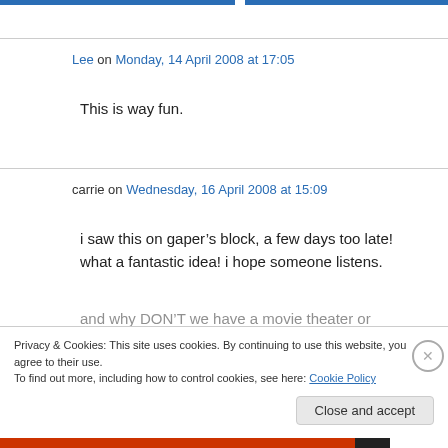Lee on Monday, 14 April 2008 at 17:05
This is way fun.
carrie on Wednesday, 16 April 2008 at 15:09
i saw this on gaper’s block, a few days too late! what a fantastic idea! i hope someone listens.
and why DON’T we have a movie theater or
Privacy & Cookies: This site uses cookies. By continuing to use this website, you agree to their use.
To find out more, including how to control cookies, see here: Cookie Policy
Close and accept